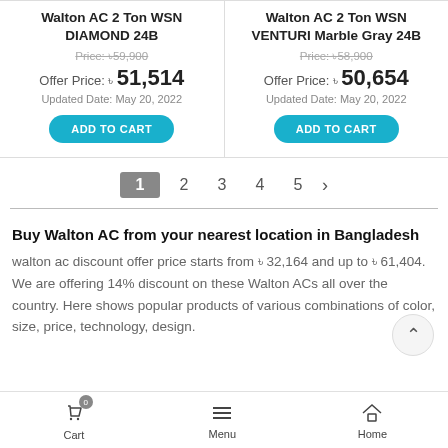Walton AC 2 Ton WSN DIAMOND 24B
Price: ৳59,900
Offer Price: ৳ 51,514
Updated Date: May 20, 2022
ADD TO CART
Walton AC 2 Ton WSN VENTURI Marble Gray 24B
Price: ৳58,900
Offer Price: ৳ 50,654
Updated Date: May 20, 2022
ADD TO CART
1  2  3  4  5  >
Buy Walton AC from your nearest location in Bangladesh
walton ac discount offer price starts from ৳ 32,164 and up to ৳ 61,404. We are offering 14% discount on these Walton ACs all over the country. Here shows popular products of various combinations of color, size, price, technology, design.
Cart  Menu  Home